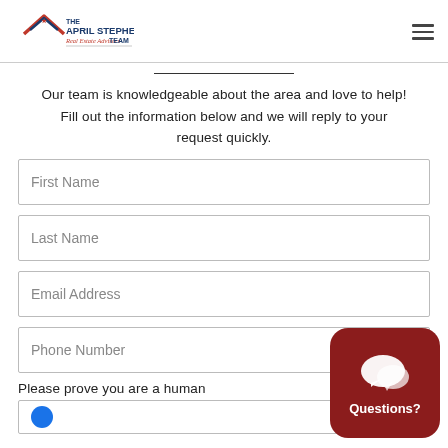The April Stephens Real Estate Advisors TEAM
Our team is knowledgeable about the area and love to help! Fill out the information below and we will reply to your request quickly.
First Name
Last Name
Email Address
Phone Number
Please prove you are a human
[Figure (logo): The April Stephens Real Estate Advisors TEAM logo with house icon and red star]
[Figure (illustration): Red rounded square button with speech bubble icon and text 'Questions?']